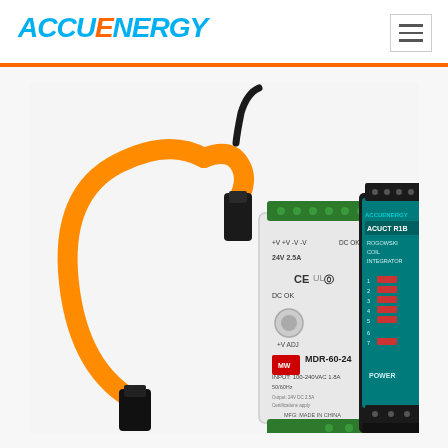ACCUENERGY
[Figure (photo): Product photo showing an Accuenergy ACUCT R1B Rogowski Coil Integrator (a black DIN-rail mounted device with teal/green front panel, LED indicators labeled 1-7, and POWER label) alongside a Mean Well MDR-60-24 DIN-rail power supply (white/gray enclosure) with an orange flexible Rogowski coil sensor with black connector attached.]